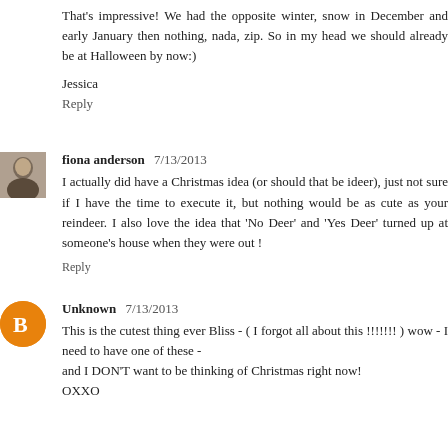That's impressive! We had the opposite winter, snow in December and early January then nothing, nada, zip. So in my head we should already be at Halloween by now:)
Jessica
Reply
fiona anderson  7/13/2013
I actually did have a Christmas idea (or should that be ideer), just not sure if I have the time to execute it, but nothing would be as cute as your reindeer. I also love the idea that 'No Deer' and 'Yes Deer' turned up at someone's house when they were out !
Reply
Unknown  7/13/2013
This is the cutest thing ever Bliss - ( I forgot all about this !!!!!!! ) wow - I need to have one of these -
and I DON'T want to be thinking of Christmas right now!
OXXO